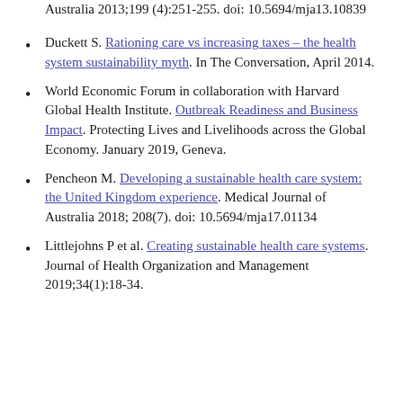Australia 2013;199 (4):251-255. doi: 10.5694/mja13.10839
Duckett S. Rationing care vs increasing taxes – the health system sustainability myth. In The Conversation, April 2014.
World Economic Forum in collaboration with Harvard Global Health Institute. Outbreak Readiness and Business Impact. Protecting Lives and Livelihoods across the Global Economy. January 2019, Geneva.
Pencheon M. Developing a sustainable health care system: the United Kingdom experience. Medical Journal of Australia 2018; 208(7). doi: 10.5694/mja17.01134
Littlejohns P et al. Creating sustainable health care systems. Journal of Health Organization and Management 2019;34(1):18-34.